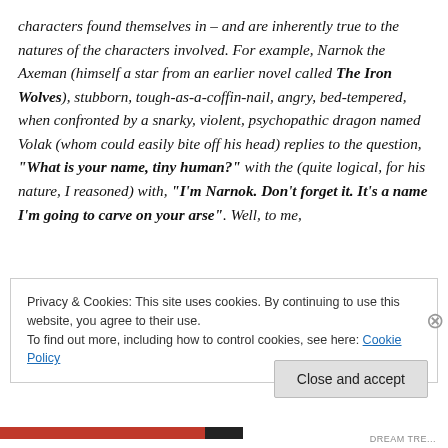characters found themselves in – and are inherently true to the natures of the characters involved. For example, Narnok the Axeman (himself a star from an earlier novel called The Iron Wolves), stubborn, tough-as-a-coffin-nail, angry, bed-tempered, when confronted by a snarky, violent, psychopathic dragon named Volak (whom could easily bite off his head) replies to the question, "What is your name, tiny human?" with the (quite logical, for his nature, I reasoned) with, "I'm Narnok. Don't forget it. It's a name I'm going to carve on your arse". Well, to me,
Privacy & Cookies: This site uses cookies. By continuing to use this website, you agree to their use. To find out more, including how to control cookies, see here: Cookie Policy
Close and accept
DREAM TRE...